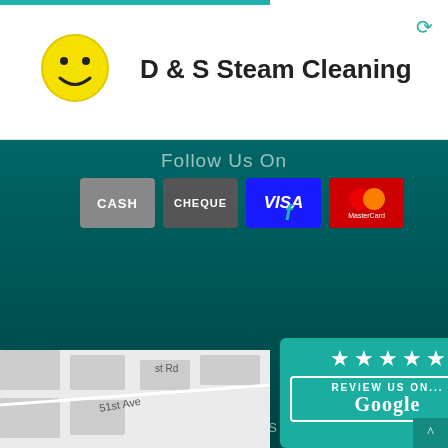[Figure (screenshot): Website screenshot of D & S Steam Cleaning page showing company logo (yellow smiley face), company name, 'Follow Us On' text, payment method icons (CASH, CHEQUE, VISA, MasterCard), Facebook icon, a dark teal footer with 'Designed and Hosted by DESIGN|RANK', a partial map showing 51st Ave, and a teal Google review widget with five stars saying 'REVIEW US ON... Google']
D & S Steam Cleaning
Follow Us On
Designed and Hosted by DESIGN|RANK
51st Ave
REVIEW US ON...
Google